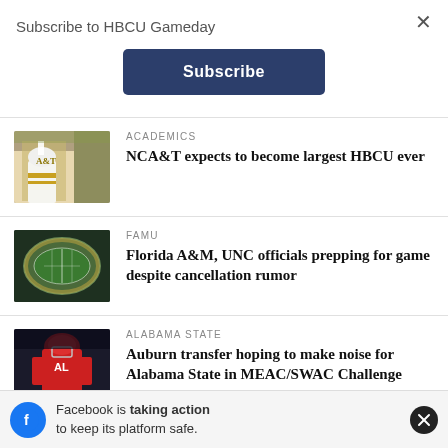Subscribe to HBCU Gameday
Subscribe
ACADEMICS
NCA&T expects to become largest HBCU ever
[Figure (photo): Marching band member in gold and white uniform with NCA&T logo]
FAMU
Florida A&M, UNC officials prepping for game despite cancellation rumor
[Figure (photo): Aerial view of a football stadium surrounded by trees]
ALABAMA STATE
Auburn transfer hoping to make noise for Alabama State in MEAC/SWAC Challenge
[Figure (photo): Football player in red Alabama State uniform]
Facebook is taking action to keep its platform safe.